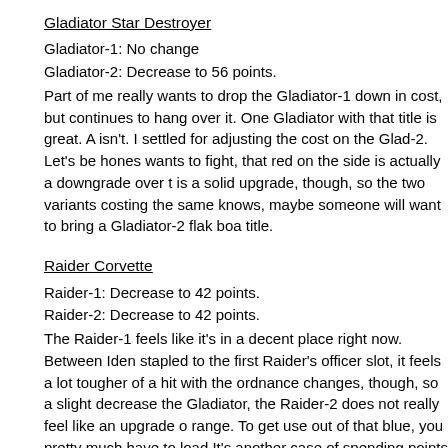Gladiator Star Destroyer
Gladiator-1: No change
Gladiator-2: Decrease to 56 points.
Part of me really wants to drop the Gladiator-1 down in cost, but continues to hang over it. One Gladiator with that title is great. A isn't. I settled for adjusting the cost on the Glad-2. Let's be hones wants to fight, that red on the side is actually a downgrade over t is a solid upgrade, though, so the two variants costing the same knows, maybe someone will want to bring a Gladiator-2 flak boa title.
Raider Corvette
Raider-1: Decrease to 42 points.
Raider-2: Decrease to 42 points.
The Raider-1 feels like it's in a decent place right now. Between Iden stapled to the first Raider's officer slot, it feels a lot tougher of a hit with the ordnance changes, though, so a slight decrease the Gladiator, the Raider-2 does not really feel like an upgrade o range. To get use out of that blue, you pretty much have to load It's another case of spending points to spend more points. I think at the same cost, but with different roles and upgrades.